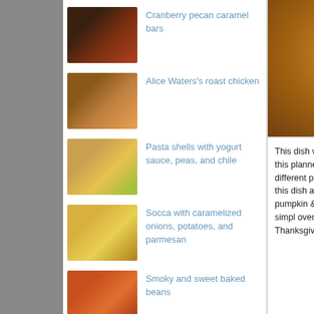Cranberry pecan caramel bars
Alice Waters's roast chicken
Pasta shells with yogurt sauce, peas, and chile
Socca with caramelized onions, potatoes, and parmesan
Smoky and sweet baked beans
[Figure (photo): Photo of a roasted/baked dish on the right panel top]
This dish would be an a little bad telling you this planned, and second, s to go to three different p shoppers each time) to you about this dish anyw Kitchen with A Good Ap pumpkin & squash them course. It is pretty simpl oven with pumpkin skin I'd say the Thanksgiving
[Figure (photo): Small food photo at the bottom right corner]